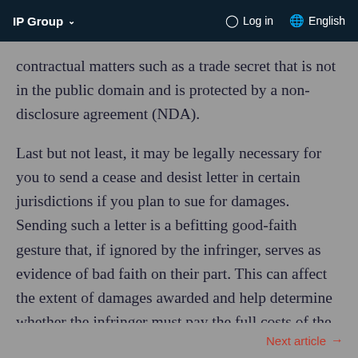IP Group  Log in  English
contractual matters such as a trade secret that is not in the public domain and is protected by a non-disclosure agreement (NDA).
Last but not least, it may be legally necessary for you to send a cease and desist letter in certain jurisdictions if you plan to sue for damages. Sending such a letter is a befitting good-faith gesture that, if ignored by the infringer, serves as evidence of bad faith on their part. This can affect the extent of damages awarded and help determine whether the infringer must pay the full costs of the
Next article →